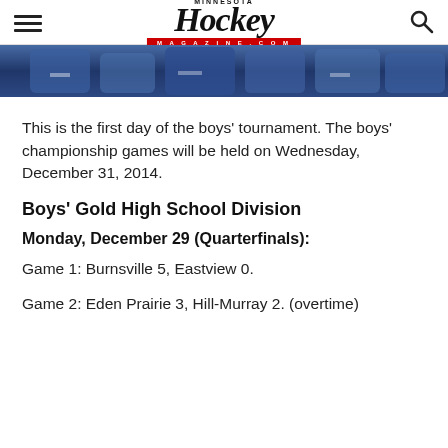Minnesota Hockey Magazine
[Figure (photo): Hockey players in blue jerseys, cropped photo strip]
This is the first day of the boys' tournament. The boys' championship games will be held on Wednesday, December 31, 2014.
Boys' Gold High School Division
Monday, December 29 (Quarterfinals):
Game 1: Burnsville 5, Eastview 0.
Game 2: Eden Prairie 3, Hill-Murray 2. (overtime)